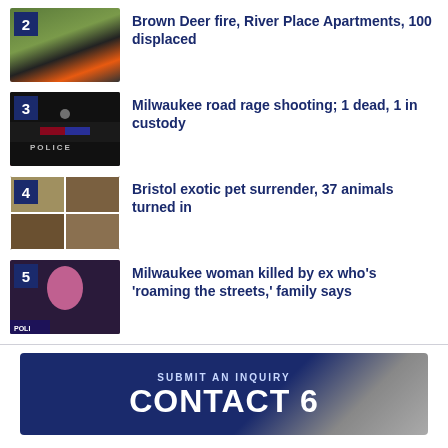2 Brown Deer fire, River Place Apartments, 100 displaced
3 Milwaukee road rage shooting; 1 dead, 1 in custody
4 Bristol exotic pet surrender, 37 animals turned in
5 Milwaukee woman killed by ex who's 'roaming the streets,' family says
[Figure (infographic): Contact 6 Submit an Inquiry banner with dark blue background]